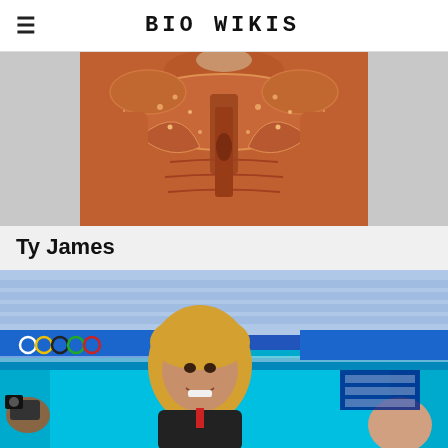BIO WIKIS
[Figure (photo): Person wearing an ornate orange/rust colored high-neck embellished dress with beading and embroidery details]
Ty James
[Figure (photo): Woman with blonde hair smiling at a gymnastics arena with Olympic rings visible in the background, blue competition equipment visible]